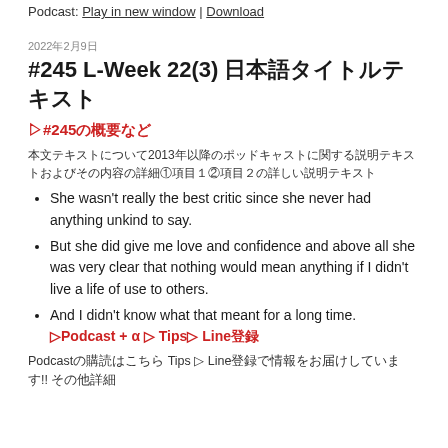Podcast: Play in new window | Download
2022年2月9日
#245 L-Week 22(3) 日本語タイトルテキスト
▷#245の概要など
本文テキスト2013年以降のポッドキャストに関する説明テキスト①項目１②項目２の説明テキスト
She wasn't really the best critic since she never had anything unkind to say.
But she did give me love and confidence and above all she was very clear that nothing would mean anything if I didn't live a life of use to others.
And I didn't know what that meant for a long time.
▷Podcast + α ▷ Tips▷ Line登録
Podcastの購読はこちら Tips ▷ Line登録で情報をお届けしています!! その他詳細